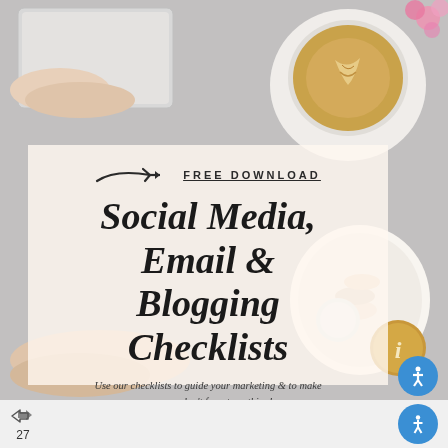[Figure (photo): Flat-lay lifestyle photo showing a hand near a laptop, a latte coffee in a cup on a white plate, pink flowers in the top right corner, and a person's hand with macarons at center-right. Gray marble/concrete surface background. Semi-transparent cream overlay box in the center containing promotional text.]
FREE DOWNLOAD
Social Media, Email & Blogging Checklists
Use our checklists to guide your marketing & to make sure you don't forget anything!
27